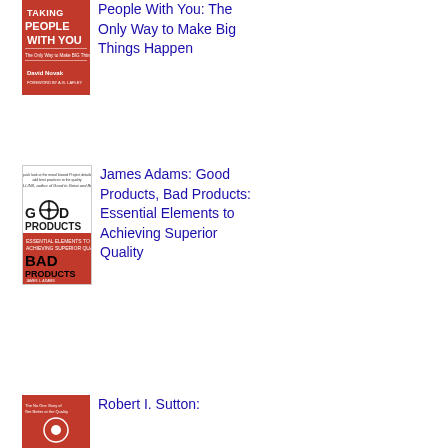[Figure (photo): Book cover: Taking People With You: The Only Way to Make Big Things Happen by David Novak. Red cover with bold white text.]
People With You: The Only Way to Make Big Things Happen
[Figure (photo): Book cover: Good Products, Bad Products: Essential Elements to Achieving Superior Quality by James L. Adams. White and red cover with bicycle image.]
James Adams: Good Products, Bad Products: Essential Elements to Achieving Superior Quality
[Figure (photo): Book cover: Robert I. Sutton book. Red cover.]
Robert I. Sutton: